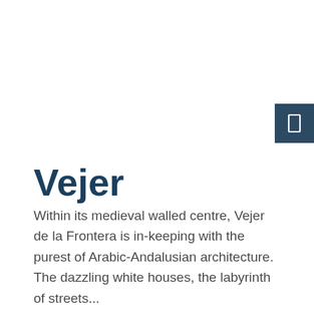[Figure (other): Dark teal/navy square button with a white rectangle/bookmark icon, positioned at the top right edge of the page]
Vejer
Within its medieval walled centre, Vejer de la Frontera is in-keeping with the purest of Arabic-Andalusian architecture. The dazzling white houses, the labyrinth of streets...